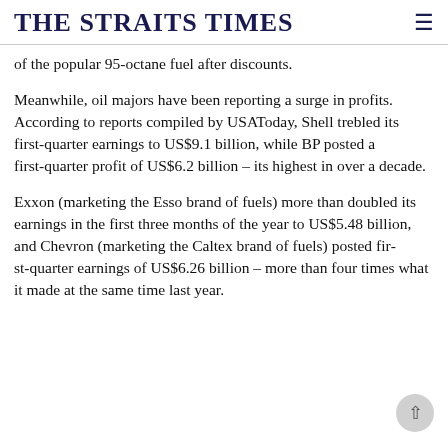THE STRAITS TIMES
of the popular 95-octane fuel after discounts.
Meanwhile, oil majors have been reporting a surge in profits. According to reports compiled by USAToday, Shell trebled its first-quarter earnings to US$9.1 billion, while BP posted a first-quarter profit of US$6.2 billion – its highest in over a decade.
Exxon (marketing the Esso brand of fuels) more than doubled its earnings in the first three months of the year to US$5.48 billion, and Chevron (marketing the Caltex brand of fuels) posted first-quarter earnings of US$6.26 billion – more than four times what it made at the same time last year.